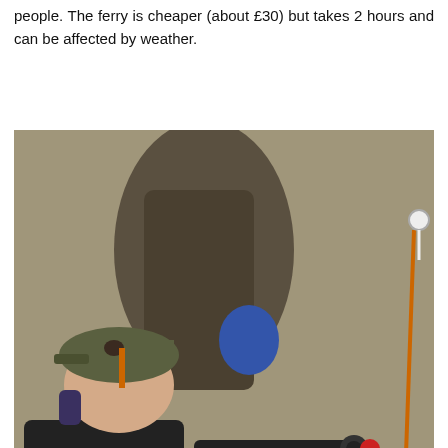people. The ferry is cheaper (about £30) but takes 2 hours and can be affected by weather.
[Figure (photo): A man wearing a grey cap and dark clothing is aiming a rifle with a scope, resting it on a yellow canister/stand outdoors near a large tree trunk. Orange rope and a white hook are visible in the background.]
After booking your travel, you need to contact the Fe[rry] Company or Eurotunnel and tell them you are carrying 12ft-lb air rifles. On the tunnel you will be told to arriv[e an] hour early and check in via a manned booth. You will the[n]